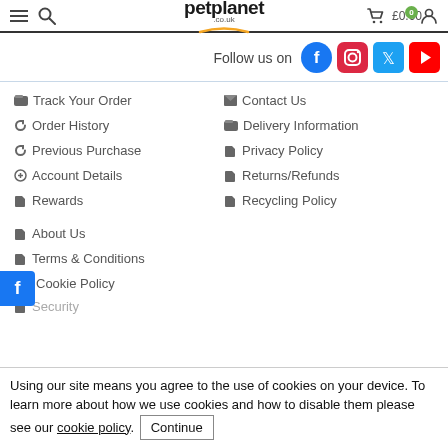petplanet.co.uk header navigation bar with menu, search, cart (£0.00), and account icons
Follow us on
Track Your Order
Contact Us
Order History
Delivery Information
Previous Purchase
Privacy Policy
Account Details
Returns/Refunds
Rewards
Recycling Policy
About Us
Terms & Conditions
Cookie Policy
Security
Using our site means you agree to the use of cookies on your device. To learn more about how we use cookies and how to disable them please see our cookie policy. Continue